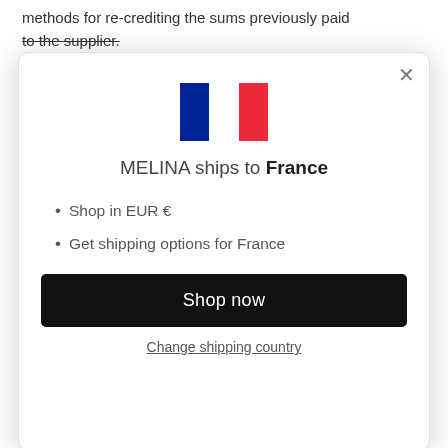methods for re-crediting the sums previously paid to the supplier.
[Figure (screenshot): Modal dialog showing MELINA ships to France with French flag, bullet points for EUR currency and shipping options, a Shop now button, and a Change shipping country link]
13) Right of withdrawal
If the customer...